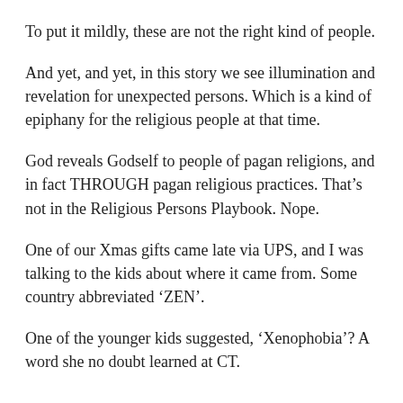To put it mildly, these are not the right kind of people.
And yet, and yet, in this story we see illumination and revelation for unexpected persons.  Which is a kind of epiphany for the religious people at that time.
God reveals Godself to people of pagan religions, and in fact THROUGH pagan religious practices.  That’s not in the Religious Persons Playbook.  Nope.
One of our Xmas gifts came late via UPS, and I was talking to the kids about where it came from.  Some country abbreviated ‘ZEN’.
One of the younger kids suggested, ‘Xenophobia’?  A word she no doubt learned at CT.